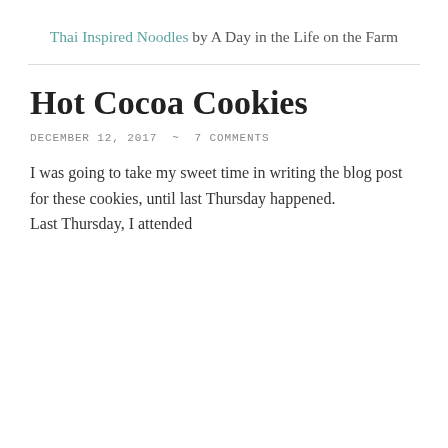Thai Inspired Noodles by A Day in the Life on the Farm
Hot Cocoa Cookies
DECEMBER 12, 2017  ~  7 COMMENTS
I was going to take my sweet time in writing the blog post for these cookies, until last Thursday happened.
Last Thursday, I attended...